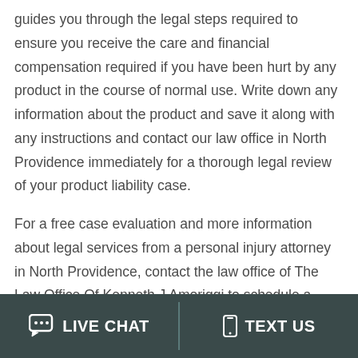guides you through the legal steps required to ensure you receive the care and financial compensation required if you have been hurt by any product in the course of normal use. Write down any information about the product and save it along with any instructions and contact our law office in North Providence immediately for a thorough legal review of your product liability case.
For a free case evaluation and more information about legal services from a personal injury attorney in North Providence, contact the law office of The Law Office Of Kenneth J Amoriggi to schedule a consultation.
LIVE CHAT   TEXT US